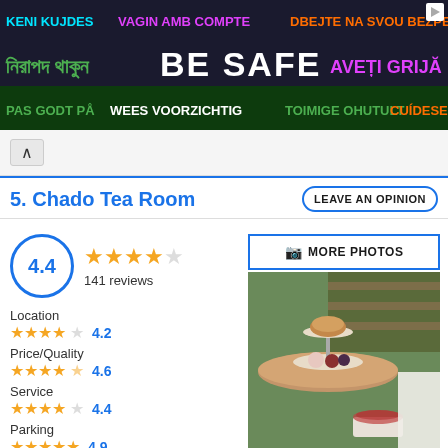[Figure (screenshot): Multilingual 'Be Safe' advertisement banner with colorful text in multiple languages on dark background]
5. Chado Tea Room
LEAVE AN OPINION
4.4 — 141 reviews
MORE PHOTOS
Location — 4.2 stars — 4.2
Price/Quality — 4.6 stars — 4.6
Service — 4.4 stars — 4.4
Parking — 4.9 stars — 4.9
Wifi quality — 5 stars — 5
[Figure (photo): Interior photo of Chado Tea Room showing tiered cake stand with pastries and a cup of tea]